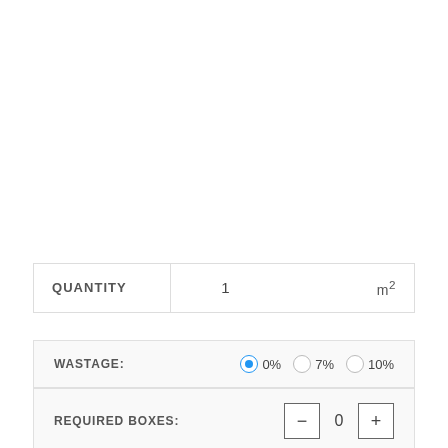| QUANTITY | 1 | m² |
| --- | --- | --- |
WASTAGE: 0% 7% 10%
REQUIRED BOXES: - 0 +
BOX SIZE: 3.26 m²